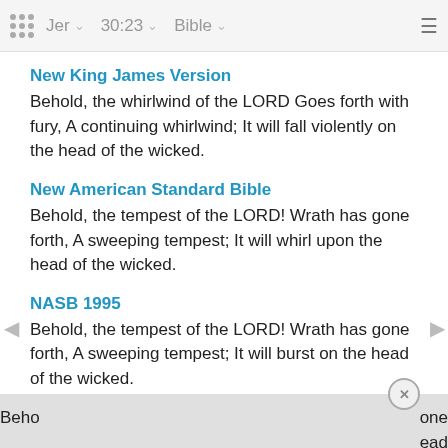Jer  30:23  Bible
New King James Version
Behold, the whirlwind of the LORD Goes forth with fury, A continuing whirlwind; It will fall violently on the head of the wicked.
New American Standard Bible
Behold, the tempest of the LORD! Wrath has gone forth, A sweeping tempest; It will whirl upon the head of the wicked.
NASB 1995
Behold, the tempest of the LORD! Wrath has gone forth, A sweeping tempest; It will burst on the head of the wicked.
NASB 1977
Beho[ld, the tempest of the LORD! Wrath has g]one forth, [A sweeping tempest; It will burst on the h]ead